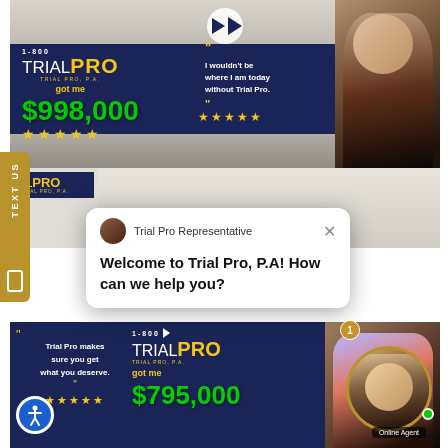[Figure (screenshot): Trial Pro law firm website screenshot showing video banner with 1-800 TRIALPRO branding, $998,000 settlement amount, 5 star rating, testimonial quote 'I wouldn't be where I am today without Trial Pro.', and a female client.]
[Figure (screenshot): Chat popup from Trial Pro Representative saying 'Welcome to Trial Pro, P.A! How can we help you?' with close button, overlaid on website background showing second banner with $795,000 settlement and 'Trial Pro makes sure you get what you deserve.' quote.]
[Figure (screenshot): Online agent avatar with notification badge, green online indicator, and 'Online Agent' label. Accessibility icon bottom left. TEXT US sidebar button.]